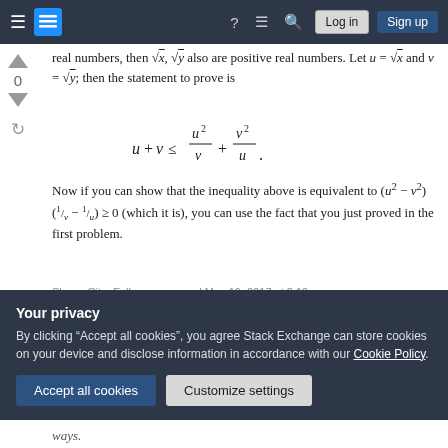Navigation bar: hamburger menu, Stack Exchange logo, help, comments, search, Log in, Sign up
real numbers, then √x, √y also are positive real numbers. Let u = √x and v = √y; then the statement to prove is
Now if you can show that the inequality above is equivalent to (u² − v²)(1/v − 1/u) ≥ 0 (which it is), you can use the fact that you just proved in the first problem.
Share Cite Follow answered May 19, 2017 at 2:10
Your privacy
By clicking "Accept all cookies", you agree Stack Exchange can store cookies on your device and disclose information in accordance with our Cookie Policy.
Accept all cookies
Customize settings
ways.